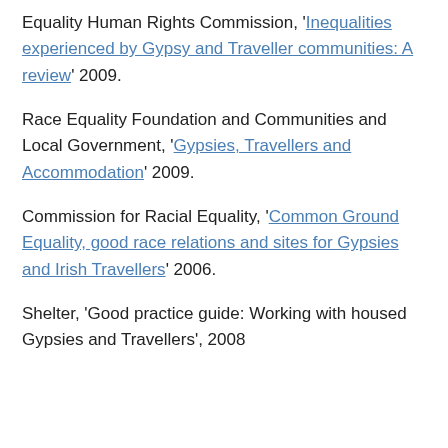Equality Human Rights Commission, 'Inequalities experienced by Gypsy and Traveller communities: A review' 2009.
Race Equality Foundation and Communities and Local Government, 'Gypsies, Travellers and Accommodation' 2009.
Commission for Racial Equality, 'Common Ground Equality, good race relations and sites for Gypsies and Irish Travellers' 2006.
Shelter, 'Good practice guide: Working with housed Gypsies and Travellers', 2008